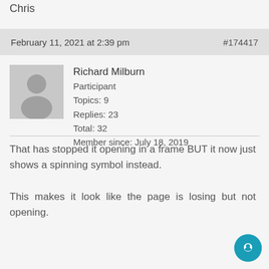Chris
February 11, 2021 at 2:39 pm   #174417
Richard Milburn
Participant
Topics: 9
Replies: 23
Total: 32
Member since: July 18, 2019
That has stopped it opening in a frame BUT it now just shows a spinning symbol instead.

This makes it look like the page is losing but not opening.